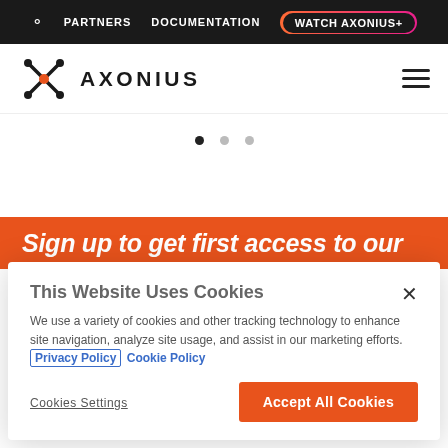PARTNERS  DOCUMENTATION  WATCH AXONIUS+
[Figure (logo): Axonius logo with stylized X icon and AXONIUS wordmark]
[Figure (other): Slider pagination dots — one active (dark), two inactive (gray)]
[Figure (other): Orange banner with partial italic heading text: Sign up to get first access to our]
This Website Uses Cookies
We use a variety of cookies and other tracking technology to enhance site navigation, analyze site usage, and assist in our marketing efforts. Privacy Policy Cookie Policy
Cookies Settings
Accept All Cookies